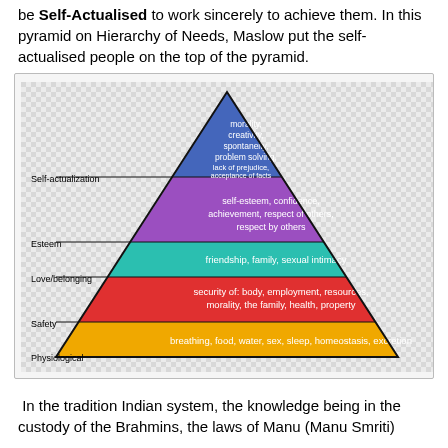be Self-Actualised to work sincerely to achieve them. In this pyramid on Hierarchy of Needs, Maslow put the self-actualised people on the top of the pyramid.
[Figure (infographic): Maslow's Hierarchy of Needs pyramid with 5 colored layers. From bottom to top: Physiological (yellow/orange) - breathing, food, water, sex, sleep, homeostasis, excretion; Safety (red) - security of: body, employment, resources, morality, the family, health, property; Love/belonging (teal/green) - friendship, family, sexual intimacy; Esteem (purple) - self-esteem, confidence, achievement, respect of others, respect by others; Self-actualization (blue) - morality, creativity, spontaneity, problem solving, lack of prejudice, acceptance of facts. Left side labels indicate each tier name.]
In the tradition Indian system, the knowledge being in the custody of the Brahmins, the laws of Manu (Manu Smriti)